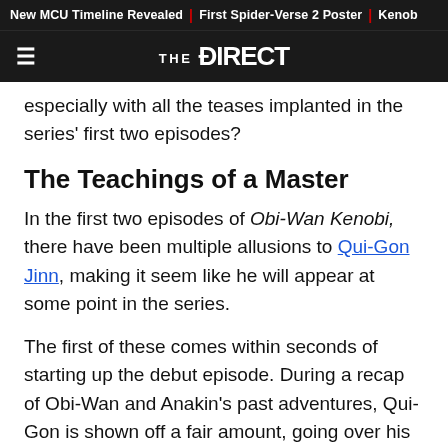New MCU Timeline Revealed | First Spider-Verse 2 Poster | Kenob
THE DIRECT
especially with all the teases implanted in the series' first two episodes?
The Teachings of a Master
In the first two episodes of Obi-Wan Kenobi, there have been multiple allusions to Qui-Gon Jinn, making it seem like he will appear at some point in the series.
The first of these comes within seconds of starting up the debut episode. During a recap of Obi-Wan and Anakin's past adventures, Qui-Gon is shown off a fair amount, going over his